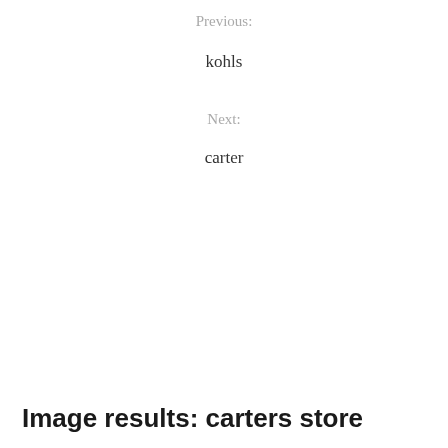Previous:
kohls
Next:
carter
Image results: carters store